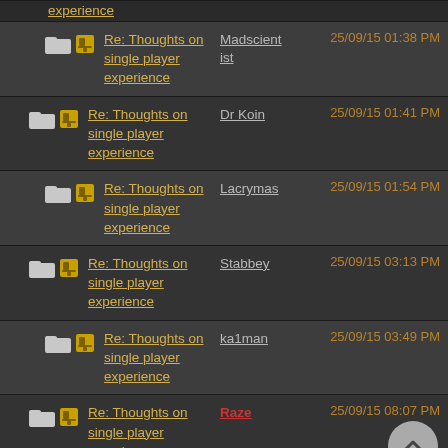Re: Thoughts on single player experience — Madscientist — 25/09/15 01:38 PM
Re: Thoughts on single player experience — Dr Koin — 25/09/15 01:41 PM
Re: Thoughts on single player experience — Lacrymas — 25/09/15 01:54 PM
Re: Thoughts on single player experience — Stabbey — 25/09/15 03:13 PM
Re: Thoughts on single player experience — ka1man — 25/09/15 03:49 PM
Re: Thoughts on single player experience — Raze — 25/09/15 08:07 PM
Re: Thoughts on single player experience — Stabbey — 25/09/15 00:54 PM